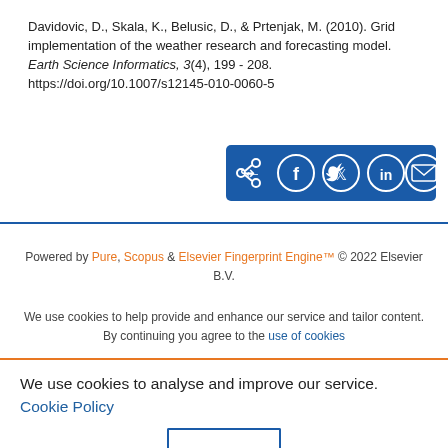Davidovic, D., Skala, K., Belusic, D., & Prtenjak, M. (2010). Grid implementation of the weather research and forecasting model. Earth Science Informatics, 3(4), 199 - 208. https://doi.org/10.1007/s12145-010-0060-5
[Figure (other): Social share bar with icons for share, Facebook, Twitter, LinkedIn, and email on a blue background]
Powered by Pure, Scopus & Elsevier Fingerprint Engine™ © 2022 Elsevier B.V.
We use cookies to help provide and enhance our service and tailor content. By continuing you agree to the use of cookies
We use cookies to analyse and improve our service. Cookie Policy